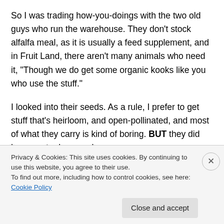So I was trading how-you-doings with the two old guys who run the warehouse. They don't stock alfalfa meal, as it is usually a feed supplement, and in Fruit Land, there aren't many animals who need it, "Though we do get some organic kooks like you who use the stuff."
I looked into their seeds. As a rule, I prefer to get stuff that's heirloom, and open-pollinated, and most of what they carry is kind of boring. BUT they did have castor beans, cheap.
"C...
Privacy & Cookies: This site uses cookies. By continuing to use this website, you agree to their use.
To find out more, including how to control cookies, see here: Cookie Policy